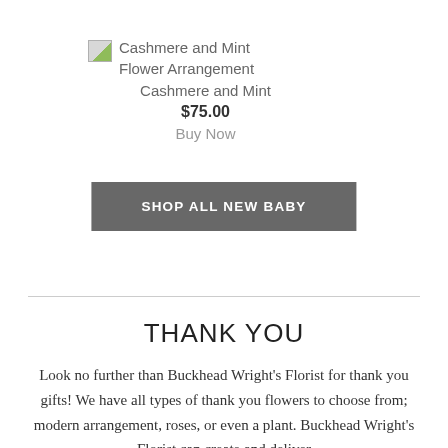[Figure (photo): Broken image placeholder icon for Cashmere and Mint Flower Arrangement product]
Cashmere and Mint Flower Arrangement
Cashmere and Mint
$75.00
Buy Now
SHOP ALL NEW BABY
THANK YOU
Look no further than Buckhead Wright's Florist for thank you gifts! We have all types of thank you flowers to choose from; modern arrangement, roses, or even a plant. Buckhead Wright's Florist can create and deliver